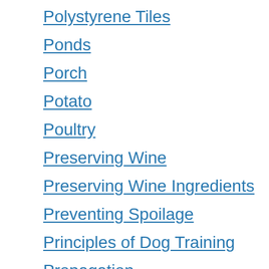Polystyrene Tiles
Ponds
Porch
Potato
Poultry
Preserving Wine
Preserving Wine Ingredients
Preventing Spoilage
Principles of Dog Training
Propagation
Pruning Fruit Trees
Puddings and Desserts
Pulses
Purchasing Timber